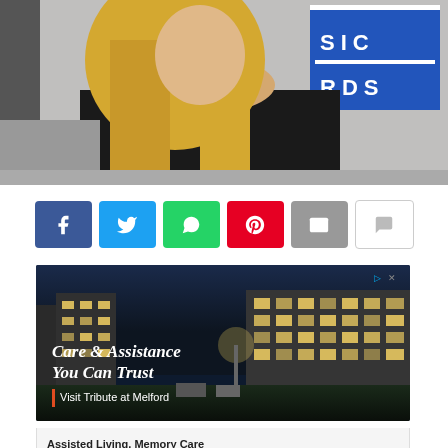[Figure (photo): A blonde woman in a black off-shoulder dress at what appears to be a music awards event, with a blue backdrop showing partial text 'SIC' and 'RDS' (Music Awards)]
[Figure (screenshot): Social media share buttons: Facebook (blue), Twitter (light blue), WhatsApp (green), Pinterest (red), Email (gray), Comment (white/gray)]
[Figure (photo): Advertisement banner showing a building at night with text 'Care & Assistance You Can Trust' and 'Visit Tribute at Melford'. Ad badge with arrow and X visible in top right.]
Assisted Living, Memory Care & Cadence Connections